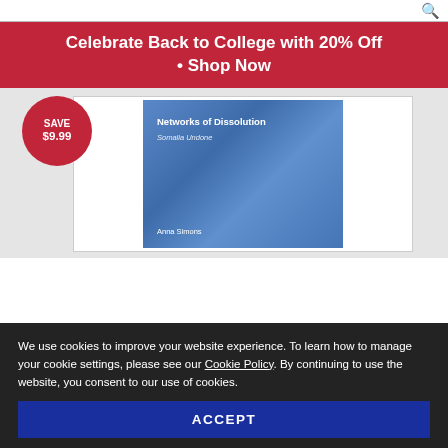[Search bar with magnifying glass icon]
Celebrate Back to College with 20% Off • Shop Now
[Figure (photo): Book product listing showing 'Networks of Dissolution: Somalia Undone' by Anna Simons with a blue cover, and a red circular badge showing SAVE $9.99]
We use cookies to improve your website experience. To learn how to manage your cookie settings, please see our Cookie Policy. By continuing to use the website, you consent to our use of cookies.
ACCEPT